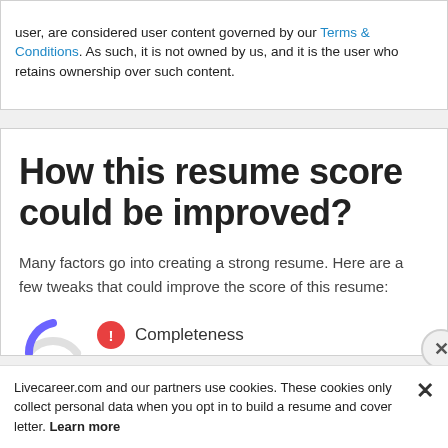user, are considered user content governed by our Terms & Conditions. As such, it is not owned by us, and it is the user who retains ownership over such content.
How this resume score could be improved?
Many factors go into creating a strong resume. Here are a few tweaks that could improve the score of this resume:
Completeness
Livecareer.com and our partners use cookies. These cookies only collect personal data when you opt in to build a resume and cover letter. Learn more